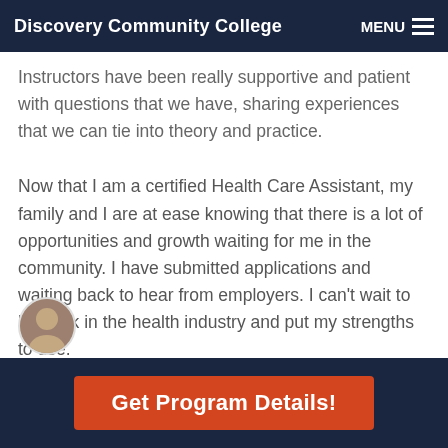Discovery Community College | MENU
Instructors have been really supportive and patient with questions that we have, sharing experiences that we can tie into theory and practice.
Now that I am a certified Health Care Assistant, my family and I are at ease knowing that there is a lot of opportunities and growth waiting for me in the community. I have submitted applications and waiting back to hear from employers. I can't wait to be back in the health industry and put my strengths to use.
[Figure (photo): Small circular avatar/portrait photo of a person, partially visible at the bottom of the content area]
Get Program Details!